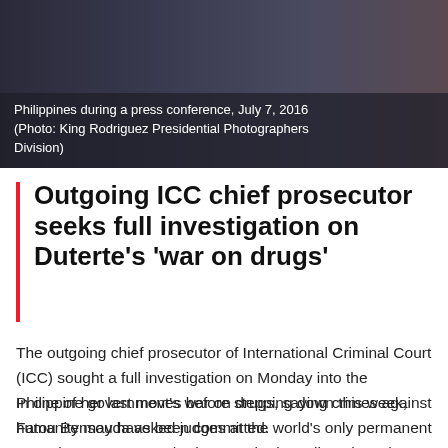[Figure (photo): Press conference photo showing officials at the Philippines, July 7, 2016. Dark background with flags visible.]
Philippines during a press conference, July 7, 2016 (Photo: King Rodriguez Presidential Photographers Division)
Outgoing ICC chief prosecutor seeks full investigation on Duterte's 'war on drugs'
The outgoing chief prosecutor of International Criminal Court (ICC) sought a full investigation on Monday into the Philippine government's war on drugs, saying crimes against humanity may have been committed.
In one of her last moves before stepping down this week, Fatou Bensouda asked judges at the world's only permanent war crimes court to authorise a probe into allegations that members of the Philippine National Police unlawfully killed tens of thousands of civilians between 2016 and 2019.